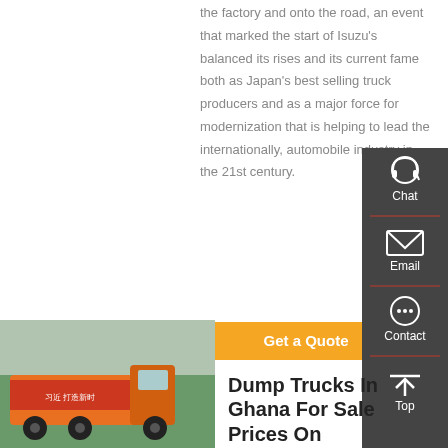the factory and onto the road, an event that marked the start of Isuzu's balanced its rises and its current fame both as Japan's best selling truck producers and as a major force for modernization that is helping to lead the internationally, automobile industry in the 21st century.
Get a Quote
[Figure (screenshot): Sidebar with Chat, Email, Contact, Top buttons on dark gray background]
[Figure (photo): Orange dump truck with red banners and trees in background]
Dump Trucks In Ghana For Sale Prices On